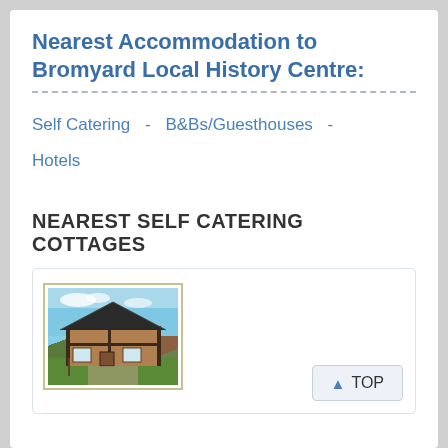Nearest Accommodation to Bromyard Local History Centre:
Self Catering  -  B&Bs/Guesthouses  -  Hotels
NEAREST SELF CATERING COTTAGES
[Figure (photo): Photo of a half-timbered cottage with a dark roof, viewed from outside on a sunny day with green grass in the foreground]
▲ TOP